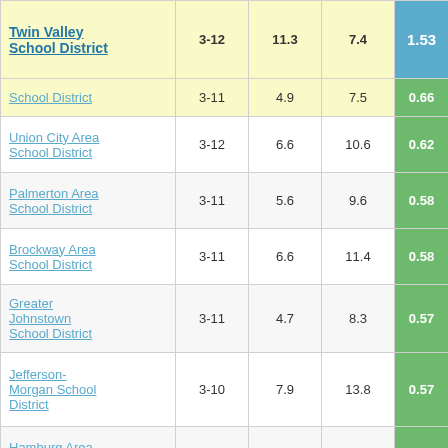| School District | Grades | Col1 | Col2 | Score |
| --- | --- | --- | --- | --- |
| Twin Valley School District | 3-12 | 11.3 | 7.4 | 1.53 |
| School District | 3-11 | 4.9 | 7.5 | 0.66 |
| Union City Area School District | 3-12 | 6.6 | 10.6 | 0.62 |
| Palmerton Area School District | 3-11 | 5.6 | 9.6 | 0.58 |
| Brockway Area School District | 3-11 | 6.6 | 11.4 | 0.58 |
| Greater Johnstown School District | 3-11 | 4.7 | 8.3 | 0.57 |
| Jefferson-Morgan School District | 3-10 | 7.9 | 13.8 | 0.57 |
| Hamburg Area School District | 3-11 | 4.8 | 8.4 | 0.57 |